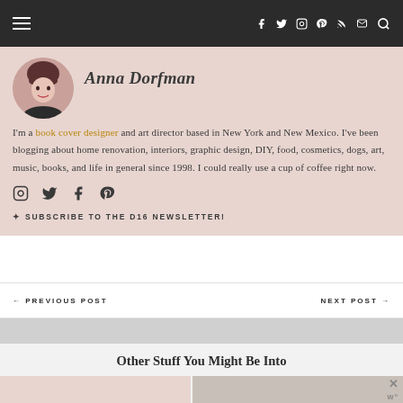Navigation bar with hamburger menu, social icons (Facebook, Twitter, Instagram, Pinterest, RSS, Email), and search icon
Anna Dorfman
I'm a book cover designer and art director based in New York and New Mexico. I've been blogging about home renovation, interiors, graphic design, DIY, food, cosmetics, dogs, art, music, books, and life in general since 1998. I could really use a cup of coffee right now.
Social icons: Instagram, Twitter, Facebook, Pinterest
✦ SUBSCRIBE TO THE D16 NEWSLETTER!
← PREVIOUS POST   NEXT POST →
Other Stuff You Might Be Into